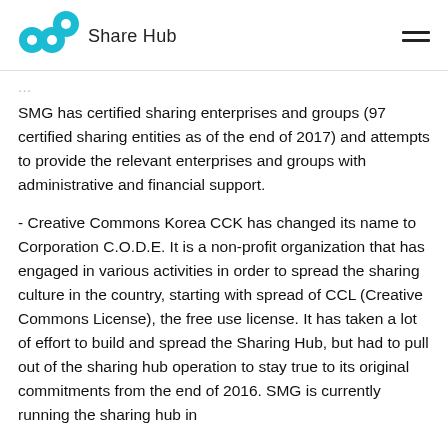Share Hub
SMG has certified sharing enterprises and groups (97 certified sharing entities as of the end of 2017) and attempts to provide the relevant enterprises and groups with administrative and financial support.
- Creative Commons Korea CCK has changed its name to Corporation C.O.D.E. It is a non-profit organization that has engaged in various activities in order to spread the sharing culture in the country, starting with spread of CCL (Creative Commons License), the free use license. It has taken a lot of effort to build and spread the Sharing Hub, but had to pull out of the sharing hub operation to stay true to its original commitments from the end of 2016. SMG is currently running the sharing hub in